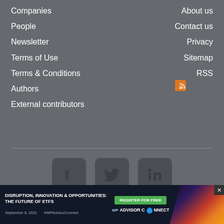Companies
People
Newsletter
Terms of Use
Terms & Conditions
Authors
External contributors
About us
Contact us
Privacy
Sitemap
RSS
[Figure (screenshot): Social media icons: Facebook, Twitter, LinkedIn]
Copyright © 1996-2022 Key Media Pty Ltd
[Figure (logo): WP watermark logo]
[Figure (screenshot): Advertisement banner: DISRUPTION, INNOVATION & OPPORTUNITIES: THE FUTURE OF ETFS. SEPTEMBER 8, 2022. #WPAdvisorConnect. REGISTER FOR FREE. WP ADVISOR CONNECT.]